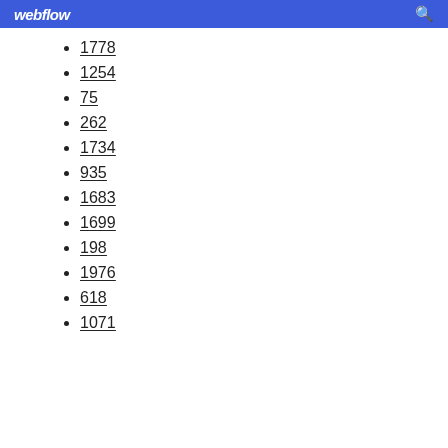webflow
1778
1254
75
262
1734
935
1683
1699
198
1976
618
1071